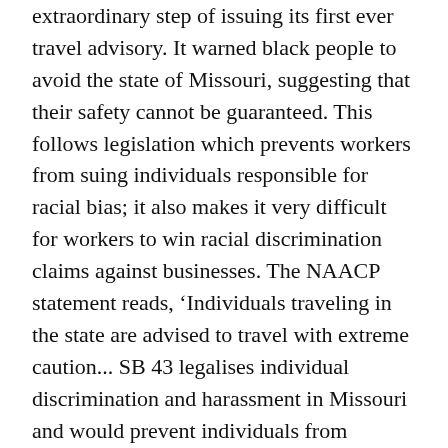extraordinary step of issuing its first ever travel advisory. It warned black people to avoid the state of Missouri, suggesting that their safety cannot be guaranteed. This follows legislation which prevents workers from suing individuals responsible for racial bias; it also makes it very difficult for workers to win racial discrimination claims against businesses. The NAACP statement reads, ‘Individuals traveling in the state are advised to travel with extreme caution... SB 43 legalises individual discrimination and harassment in Missouri and would prevent individuals from protecting themselves’.
Government
In late July the director of the Office of Government Ethics, Walter Shaub Jr., resigned saying that the Trump administration (which announced at the same time that it plans to renegotiate the North American